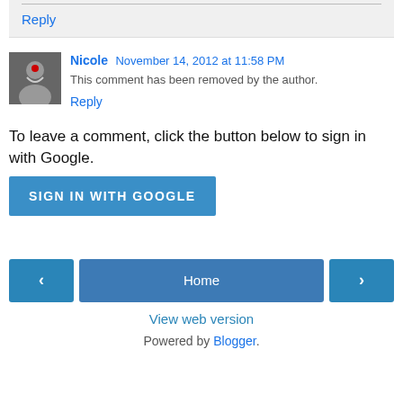Thx for dropping by :D
Reply
Nicole  November 14, 2012 at 11:58 PM
This comment has been removed by the author.
Reply
To leave a comment, click the button below to sign in with Google.
SIGN IN WITH GOOGLE
Home
View web version
Powered by Blogger.